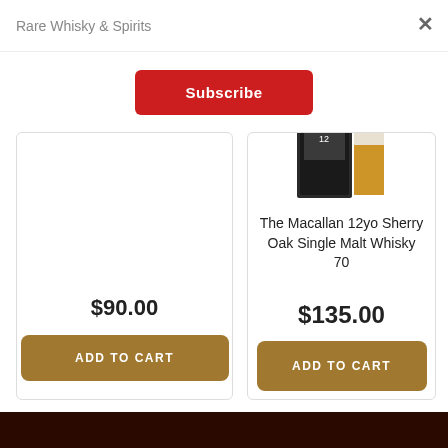Rare Whisky & Spirits
×
Subscribe
$90.00
ADD TO CART
[Figure (photo): Bottle of The Macallan 12 year old whisky with box]
The Macallan 12yo Sherry Oak Single Malt Whisky 70
$135.00
ADD TO CART